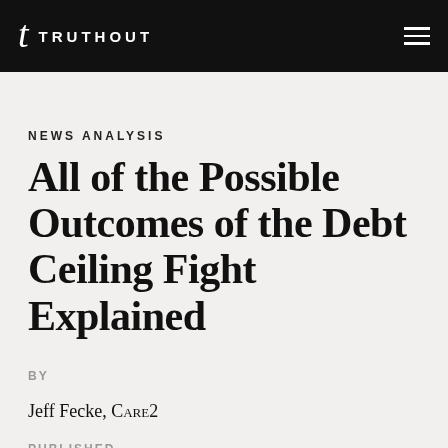TRUTHOUT
NEWS ANALYSIS
All of the Possible Outcomes of the Debt Ceiling Fight Explained
BY
Jeff Fecke, CARE2
PUBLISHED
October 12, 2013